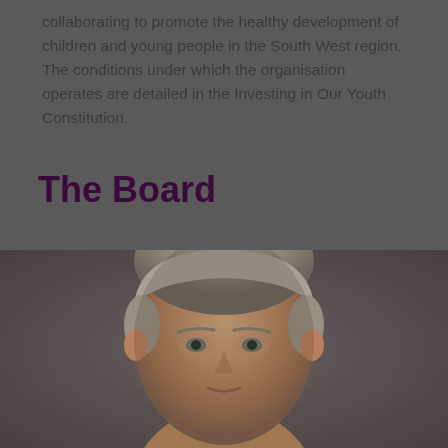collaborating to promote the healthy development of children and young people in the South West region. The conditions under which the organisation operates are detailed in the Investing in Our Youth Constitution.
The Board
[Figure (photo): Portrait photograph of a man with short grey/light hair, looking directly at the camera, against a dark grey background. Only the head and upper shoulders are visible.]